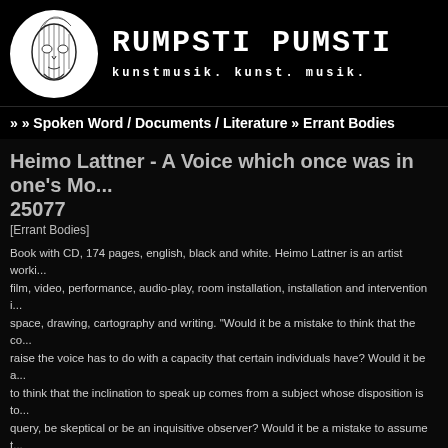[Figure (logo): Circular logo with anatomical head illustration in black and white on white circle background]
RUMPSTI PUMSTI
kunstmusik. kunst. musik.
» » Spoken Word / Documents / Literature » Errant Bodies
Heimo Lattner - A Voice which once was in one's Mo... 25077
[Errant Bodies]
Book with CD, 174 pages, english, black and white. Heimo Lattner is an artist worki... film, video, performance, audio-play, room installation, installation and intervention i... space, drawing, cartography and writing. "Would it be a mistake to think that the co... raise the voice has to do with a capacity that certain individuals have? Would it be a... to think that the inclination to speak up comes from a subject whose disposition is to... query, be skeptical or be an inquisitive observer? Would it be a mistake to assume t... voice lies at the core of all social bonds?
This publication assembles six conversations recorded in Berlin between the artist H... Lattner and colleagues, focusing on the artist's research and practice. The conversa... form a base for exposing key issues approached in Lattner's work, from Cocke...